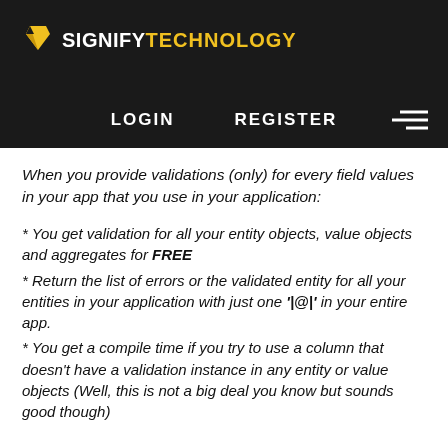SIGNIFY TECHNOLOGY — LOGIN  REGISTER
When you provide validations (only) for every field values in your app that you use in your application:
* You get validation for all your entity objects, value objects and aggregates for FREE
* Return the list of errors or the validated entity for all your entities in your application with just one '|@|' in your entire app.
* You get a compile time if you try to use a column that doesn't have a validation instance in any entity or value objects (Well, this is not a big deal you know but sounds good though)